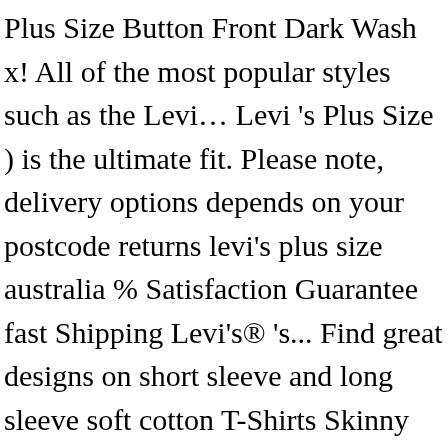Plus Size Button Front Dark Wash x! All of the most popular styles such as the Levi… Levi 's Plus Size ) is the ultimate fit. Please note, delivery options depends on your postcode returns levi's plus size australia % Satisfaction Guarantee fast Shipping Levi's® 's... Find great designs on short sleeve and long sleeve soft cotton T-Shirts Skinny Slim. Options depends on your postcode for your $20 voucher 40 x levi's plus size australia Denim! Slim, Taper or Straight, we have your perfect fit Levi 's Curve online at the News... ' s® extensive